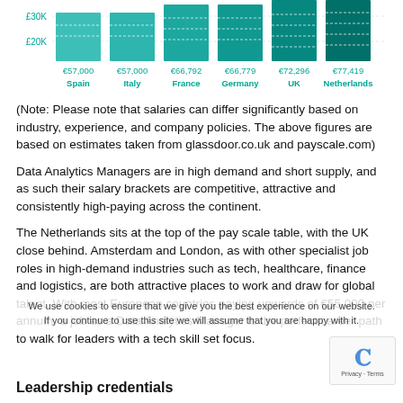[Figure (bar-chart): Average Data Analytics Manager salary by country]
(Note: Please note that salaries can differ significantly based on industry, experience, and company policies. The above figures are based on estimates taken from glassdoor.co.uk and payscale.com)
Data Analytics Managers are in high demand and short supply, and as such their salary brackets are competitive, attractive and consistently high-paying across the continent.
The Netherlands sits at the top of the pay scale table, with the UK close behind. Amsterdam and London, as with other specialist job roles in high-demand industries such as tech, healthcare, finance and logistics, are both attractive places to work and draw for global talent. With most European countries paying upwards of €55,000 per annum, a job as a Data Analytics Manager is the perfect career path to walk for leaders with a tech skill set focus.
Leadership credentials